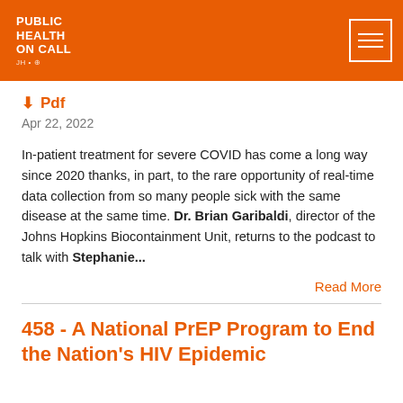PUBLIC HEALTH ON CALL
Pdf
Apr 22, 2022
In-patient treatment for severe COVID has come a long way since 2020 thanks, in part, to the rare opportunity of real-time data collection from so many people sick with the same disease at the same time. Dr. Brian Garibaldi, director of the Johns Hopkins Biocontainment Unit, returns to the podcast to talk with Stephanie...
Read More
458 - A National PrEP Program to End the Nation's HIV Epidemic